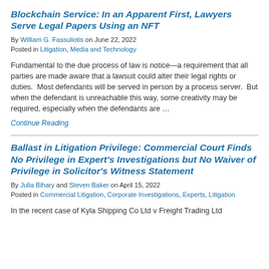Blockchain Service: In an Apparent First, Lawyers Serve Legal Papers Using an NFT
By William G. Fassuliotis on June 22, 2022
Posted in Litigation, Media and Technology
Fundamental to the due process of law is notice—a requirement that all parties are made aware that a lawsuit could alter their legal rights or duties.  Most defendants will be served in person by a process server.  But when the defendant is unreachable this way, some creativity may be required, especially when the defendants are …
Continue Reading
Ballast in Litigation Privilege: Commercial Court Finds No Privilege in Expert's Investigations but No Waiver of Privilege in Solicitor's Witness Statement
By Julia Bihary and Steven Baker on April 15, 2022
Posted in Commercial Litigation, Corporate Investigations, Experts, Litigation
In the recent case of Kyla Shipping Co Ltd v Freight Trading Ltd